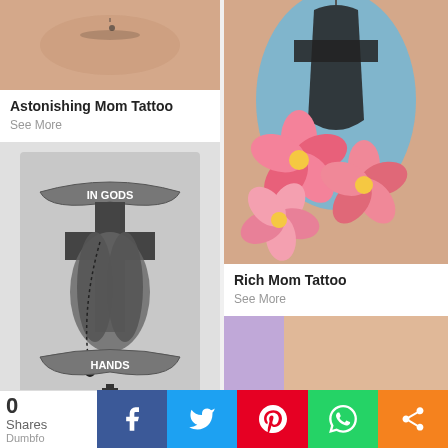[Figure (photo): Photo of a mom tattoo on skin (top of left card)]
Astonishing Mom Tattoo
See More
[Figure (photo): Black and grey praying hands tattoo with 'In Gods Hands' banner and rosary beads]
[Figure (photo): Colorful tattoo of a figure with blue shading and pink plumeria flowers (right column top)]
Rich Mom Tattoo
See More
[Figure (photo): Partial view of a tattoo on skin (right column bottom)]
0 Shares Dumbfo...